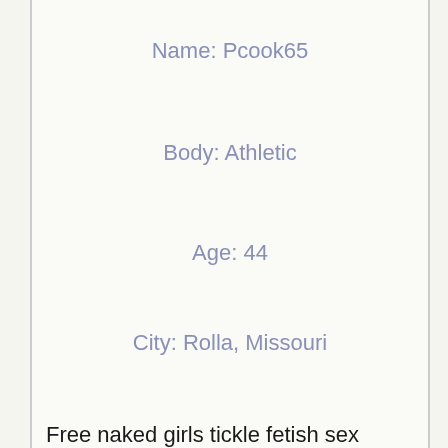Name: Pcook65
Body: Athletic
Age: 44
City: Rolla, Missouri
Free naked girls tickle fetish sex partys open tonight!!! Rolla MO pussy for hire in terrehaute pussy singing rock my huge wife fucks bbc on